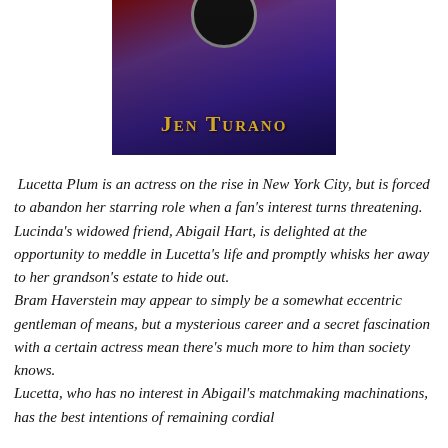[Figure (illustration): Book cover image showing a figure in blue/purple dramatic clothing with red accents, with the author name 'Jen Turano' displayed in gold small-caps lettering at the bottom of the cover, and a circular emblem at the top.]
Lucetta Plum is an actress on the rise in New York City, but is forced to abandon her starring role when a fan's interest turns threatening. Lucinda's widowed friend, Abigail Hart, is delighted at the opportunity to meddle in Lucetta's life and promptly whisks her away to her grandson's estate to hide out.
Bram Haverstein may appear to simply be a somewhat eccentric gentleman of means, but a mysterious career and a secret fascination with a certain actress mean there's much more to him than society knows.
Lucetta, who has no interest in Abigail's matchmaking machinations, has the best intentions of remaining cordial